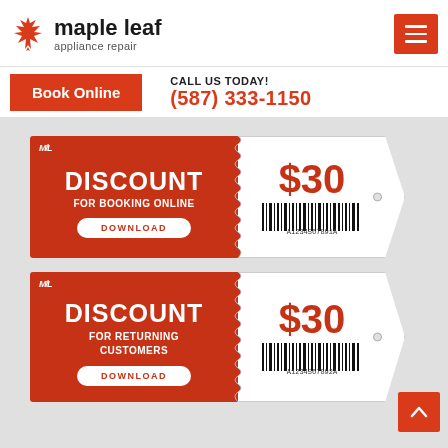maple leaf appliance repair
Book Online
CALL US TODAY! (587) 333-1150
[Figure (infographic): Coupon: $30 DISCOUNT FOR BOOKING ONLINE, barcode A1234567891A, DOWNLOAD button]
[Figure (infographic): Coupon: $30 DISCOUNT FOR RETURNING CUSTOMERS, barcode A1234567892A, DOWNLOAD button]